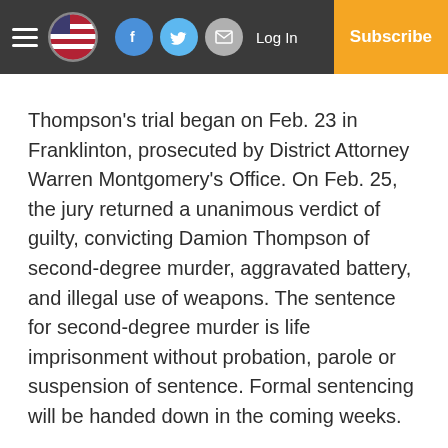Log In | Subscribe
Thompson's trial began on Feb. 23 in Franklinton, prosecuted by District Attorney Warren Montgomery's Office. On Feb. 25, the jury returned a unanimous verdict of guilty, convicting Damion Thompson of second-degree murder, aggravated battery, and illegal use of weapons. The sentence for second-degree murder is life imprisonment without probation, parole or suspension of sentence. Formal sentencing will be handed down in the coming weeks.
This was Thompson's 10th arrest by the BPD since